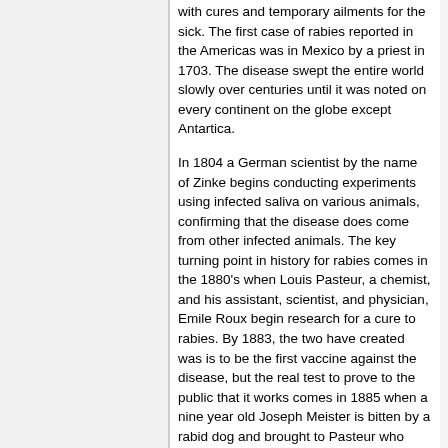with cures and temporary ailments for the sick. The first case of rabies reported in the Americas was in Mexico by a priest in 1703. The disease swept the entire world slowly over centuries until it was noted on every continent on the globe except Antartica.
In 1804 a German scientist by the name of Zinke begins conducting experiments using infected saliva on various animals, confirming that the disease does come from other infected animals. The key turning point in history for rabies comes in the 1880's when Louis Pasteur, a chemist, and his assistant, scientist, and physician, Emile Roux begin research for a cure to rabies. By 1883, the two have created was is to be the first vaccine against the disease, but the real test to prove to the public that it works comes in 1885 when a nine year old Joseph Meister is bitten by a rabid dog and brought to Pasteur who puts his career on the line by testing the new vaccine for the first time. The vaccine was a success and young Joseph Meister became the first person to be successfully treated for the disease. Pasteur